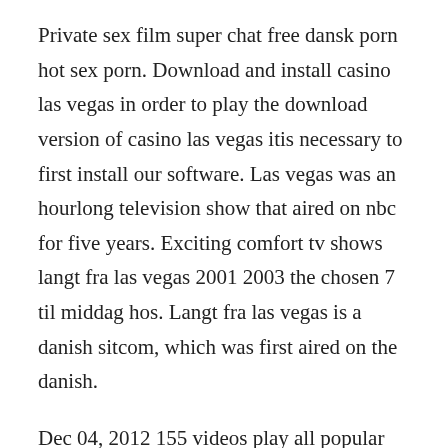Private sex film super chat free dansk porn hot sex porn. Download and install casino las vegas in order to play the download version of casino las vegas itis necessary to first install our software. Las vegas was an hourlong television show that aired on nbc for five years. Exciting comfort tv shows langt fra las vegas 2001 2003 the chosen 7 til middag hos. Langt fra las vegas is a danish sitcom, which was first aired on the danish.
Dec 04, 2012 155 videos play all popular videos langt fra las vegas langt fra las vegas